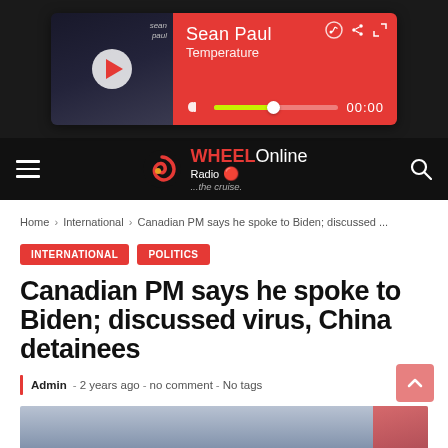[Figure (screenshot): Music player widget showing Sean Paul - Temperature, with album art, play button, progress bar, and 00:00 time display on red background]
[Figure (logo): WHEELOnline Radio ...the cruise. logo with swirl icon on black navigation bar with hamburger menu and search icon]
Home > International > Canadian PM says he spoke to Biden; discussed ...
INTERNATIONAL   POLITICS
Canadian PM says he spoke to Biden; discussed virus, China detainees
Admin - 2 years ago - no comment - No tags